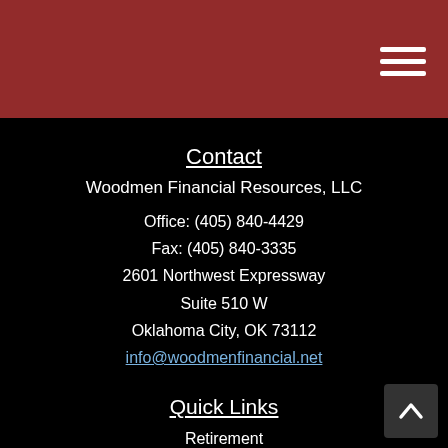Woodmen Financial Resources navigation header
Contact
Woodmen Financial Resources, LLC
Office: (405) 840-4429
Fax: (405) 840-3335
2601 Northwest Expressway
Suite 510 W
Oklahoma City, OK 73112
info@woodmenfinancial.net
Quick Links
Retirement
Investment
Estate
Insurance
Tax
Money
Lifestyle
All Articles